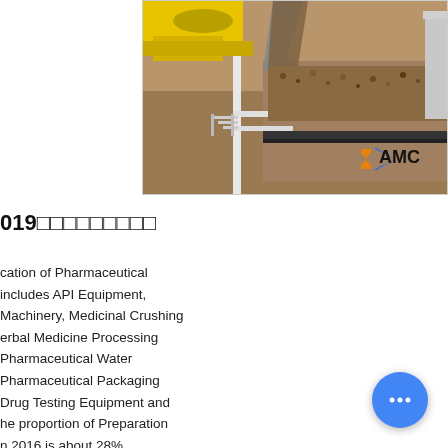[Figure (photo): Industrial pharmaceutical/mining machinery showing a conveyor or processing machine with yellow and white metal frame dispensing granular material, with AMC logo in orange and blue in the bottom right corner.]
019□□□□□□□□□
cation of Pharmaceutical includes API Equipment, Machinery, Medicinal Crushing erbal Medicine Processing Pharmaceutical Water Pharmaceutical Packaging Drug Testing Equipment and he proportion of Preparation n 2016 is about 28%.